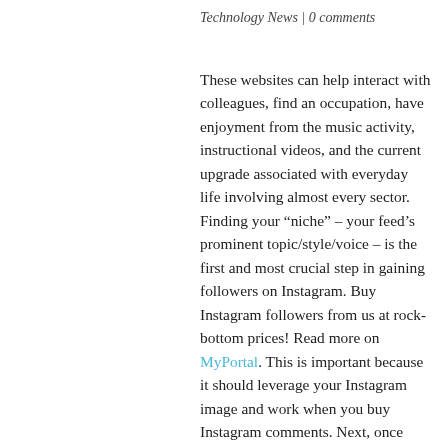Technology News | 0 comments
These websites can help interact with colleagues, find an occupation, have enjoyment from the music activity, instructional videos, and the current upgrade associated with everyday life involving almost every sector. Finding your “niche” – your feed’s prominent topic/style/voice – is the first and most crucial step in gaining followers on Instagram. Buy Instagram followers from us at rock-bottom prices! Read more on MyPortal. This is important because it should leverage your Instagram image and work when you buy Instagram comments. Next, once they open your profile, they’ll immediately see your Instagram bio. While older Instagram users may have shed their apprehensions over their like count, it’s common among younger people to delete photos that don’t get enough, Mostad said, because they see it as embarrassing. While your goal is to reach as many people as